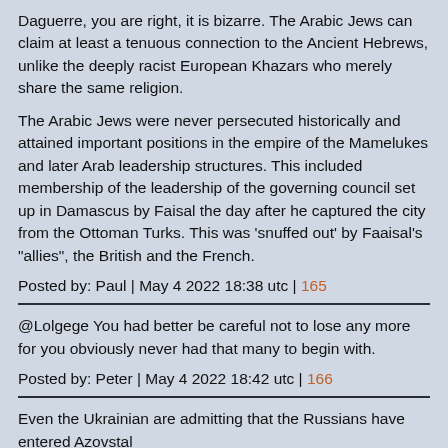Daguerre, you are right, it is bizarre. The Arabic Jews can claim at least a tenuous connection to the Ancient Hebrews, unlike the deeply racist European Khazars who merely share the same religion.
The Arabic Jews were never persecuted historically and attained important positions in the empire of the Mamelukes and later Arab leadership structures. This included membership of the leadership of the governing council set up in Damascus by Faisal the day after he captured the city from the Ottoman Turks. This was 'snuffed out' by Faaisal's "allies", the British and the French.
Posted by: Paul | May 4 2022 18:38 utc | 165
@Lolgege You had better be careful not to lose any more for you obviously never had that many to begin with.
Posted by: Peter | May 4 2022 18:42 utc | 166
Even the Ukrainian are admitting that the Russians have entered Azovstal
Posted by: Down South | May 4 2022 18:24 utc | 154
It is the Ukrainians who are claiming that the Russians have